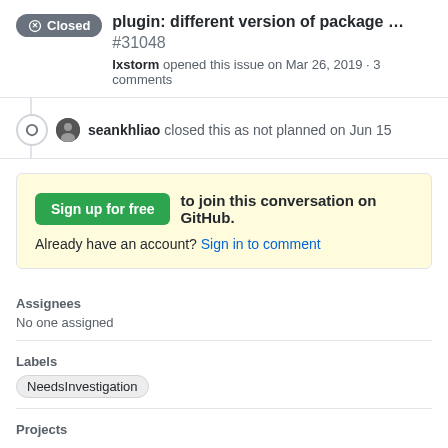plugin: different version of package ... #31048
lxstorm opened this issue on Mar 26, 2019 · 3 comments
seankhliao closed this as not planned on Jun 15
Sign up for free to join this conversation on GitHub. Already have an account? Sign in to comment
Assignees
No one assigned
Labels
NeedsInvestigation
Projects